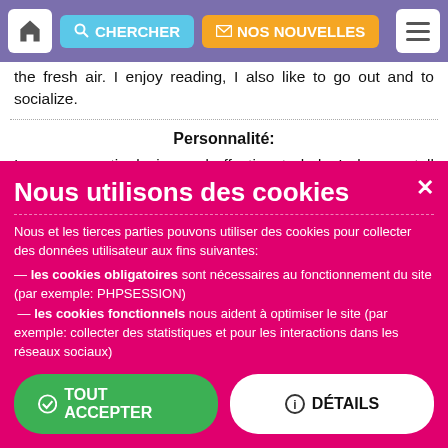CHERCHER | NOS NOUVELLES
the fresh air. I enjoy reading, I also like to go out and to socialize.
Personnalité:
I am a romantic, loving and affectionate lady. I also can tell about myself that I am open-minded, intelligent and honest. I am also kind hearted, giving, friendly and reliable. I am very active and like to be outside, but at the same time I love to make coziness and comfort at home. My biggest dream is to meet my true second half and to create a happy and lifelong relationship.
Fumeur:  Non
Nous utilisons des cookies
Nous et les tierces parties pouvons utiliser des cookies pour collecter des données utilisateur aux fins suivantes:
— les cookies obligatoires sont nécessaires au fonctionnement du site (par exemple: PHPSESSION)
— les cookies fonctionnels nous aident à optimiser le site (par exemple: collecter des statistiques et pour les interactions dans les réseaux sociaux)
✓ TOUT ACCEPTER | ℹ DÉTAILS